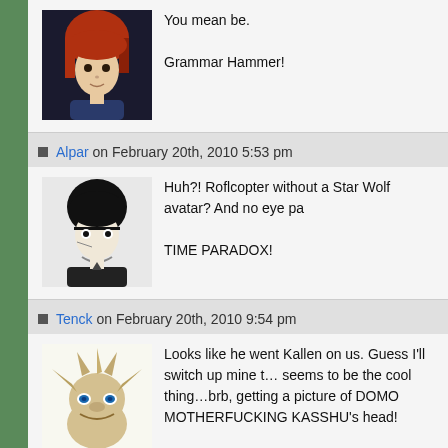You mean be.

Grammar Hammer!
Alpar on February 20th, 2010 5:53 pm
Huh?! Roflcopter without a Star Wolf avatar? And no eye pa…

TIME PARADOX!
Tenck on February 20th, 2010 9:54 pm
Looks like he went Kallen on us. Guess I'll switch up mine t… seems to be the cool thing…brb, getting a picture of DOMO MOTHERFUCKING KASSHU's head!
Roflcopter419 on February 21st, 2010 3:54 am
I don't see how it's the cool thing to do. Following the cool t… would be having Kallen with a monocle and a top hat.
rory_m on February 21st, 2010 7:40 am